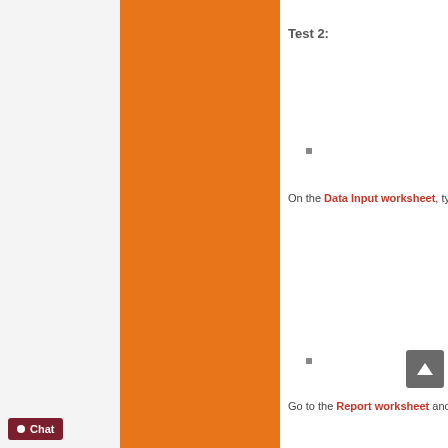Test 2:
■ (bullet)
On the Data Input worksheet, type GIGO into t
■ (bullet)
Go to the Report worksheet and observe wheth
○ (circle bullet)
On the Data Input worksheet, replace the rand